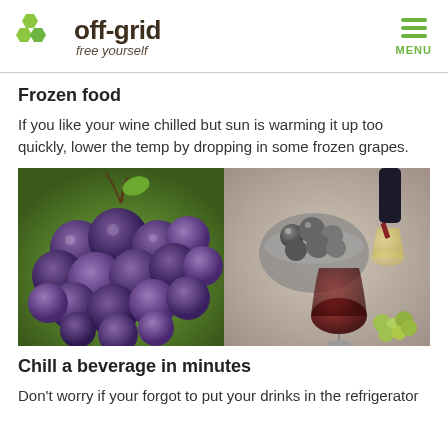off-grid free yourself
Frozen food
If you like your wine chilled but sun is warming it up too quickly, lower the temp by dropping in some frozen grapes.
[Figure (photo): Two photos side by side: left shows a bunch of dark purple grapes on a vine with green bokeh background; right shows frozen dark grapes in a metal bowl alongside wine glasses with red and white wine being poured.]
Chill a beverage in minutes
Don't worry if your forgot to put your drinks in the refrigerator